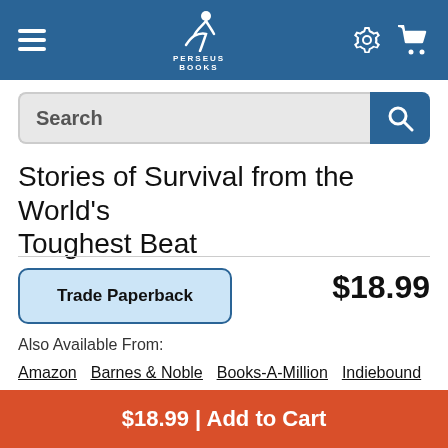Perseus Books
Stories of Survival from the World's Toughest Beat
Edited by Clint Willis   $18.99
Trade Paperback
Also Available From:
Amazon   Barnes & Noble   Books-A-Million   Indiebound
Bookshop   Target   Walmart
$18.99 | Add to Cart